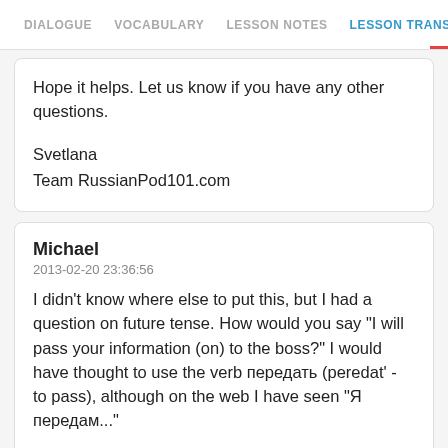DIALOGUE  VOCABULARY  LESSON NOTES  LESSON TRANSCRIPT  C
Hope it helps. Let us know if you have any other questions.

Svetlana
Team RussianPod101.com
Michael
2013-02-20 23:36:56
I didn't know where else to put this, but I had a question on future tense. How would you say "I will pass your information (on) to the boss?" I would have thought to use the verb передать (peredat' - to pass), although on the web I have seen "Я передам..."

this does not look like any form of the future tense I